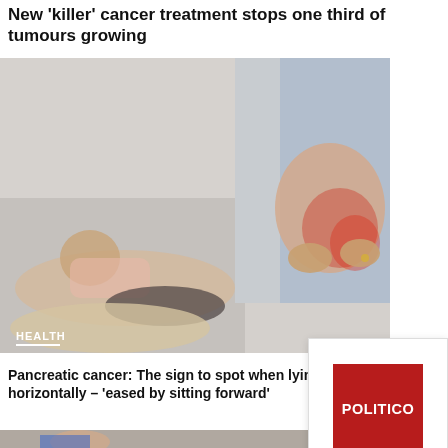New 'killer' cancer treatment stops one third of tumours growing
[Figure (photo): Composite medical image: person lying horizontally on left, and a person holding their abdomen showing red pain area on right. HEALTH label in bottom-left corner.]
Pancreatic cancer: The sign to spot when lying horizontally – 'eased by sitting forward'
[Figure (logo): Politico logo card: red square with POLITICO text in white, and 'Politico' text below in black]
[Figure (photo): Partial bottom image showing a person, mostly cut off]